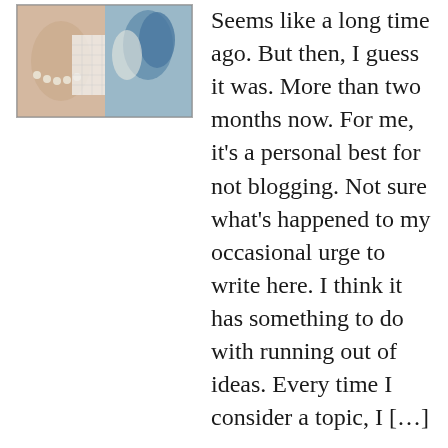[Figure (photo): A cropped photograph showing what appears to be a person with pearl jewelry and white lace or netting fabric, and a blue and white decorative element.]
Seems like a long time ago. But then, I guess it was. More than two months now. For me, it’s a personal best for not blogging. Not sure what’s happened to my occasional urge to write here. I think it has something to do with running out of ideas. Every time I consider a topic, I […]
FILED UNDER: WRITING
Meandering along with